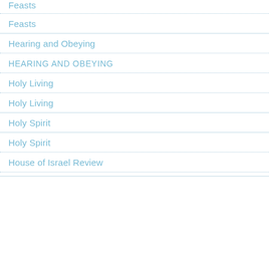Feasts
Feasts
Hearing and Obeying
HEARING AND OBEYING
Holy Living
Holy Living
Holy Spirit
Holy Spirit
House of Israel Review